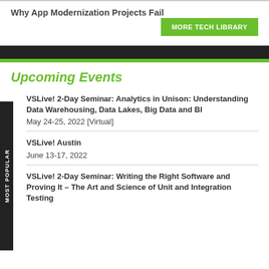Why App Modernization Projects Fail
MORE TECH LIBRARY
Upcoming Events
VSLive! 2-Day Seminar: Analytics in Unison: Understanding Data Warehousing, Data Lakes, Big Data and BI
May 24-25, 2022 [Virtual]
VSLive! Austin
June 13-17, 2022
VSLive! 2-Day Seminar: Writing the Right Software and Proving It – The Art and Science of Unit and Integration Testing